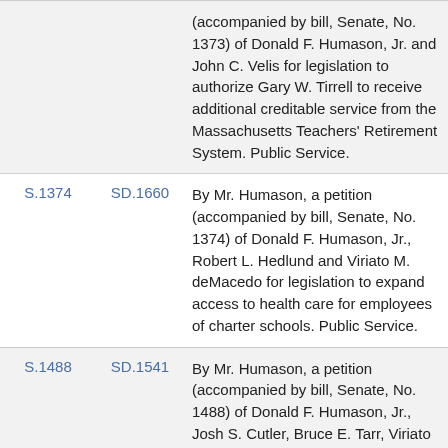| Bill | SD | Description |
| --- | --- | --- |
|  |  | (accompanied by bill, Senate, No. 1373) of Donald F. Humason, Jr. and John C. Velis for legislation to authorize Gary W. Tirrell to receive additional creditable service from the Massachusetts Teachers' Retirement System. Public Service. |
| S.1374 | SD.1660 | By Mr. Humason, a petition (accompanied by bill, Senate, No. 1374) of Donald F. Humason, Jr., Robert L. Hedlund and Viriato M. deMacedo for legislation to expand access to health care for employees of charter schools. Public Service. |
| S.1488 | SD.1541 | By Mr. Humason, a petition (accompanied by bill, Senate, No. 1488) of Donald F. Humason, Jr., Josh S. Cutler, Bruce E. Tarr, Viriato M. deMacedo and other members of the General Court for legislation |